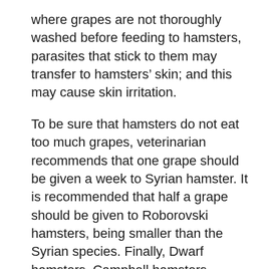where grapes are not thoroughly washed before feeding to hamsters, parasites that stick to them may transfer to hamsters’ skin; and this may cause skin irritation.
To be sure that hamsters do not eat too much grapes, veterinarian recommends that one grape should be given a week to Syrian hamster. It is recommended that half a grape should be given to Roborovski hamsters, being smaller than the Syrian species. Finally, Dwarf hamsters, Campbell hamsters, Chinese hamsters, and Russian hamsters should be given one-sixths of a grape per week, according to veterinarian because these species of hamsters are the smallest of all hamsters.